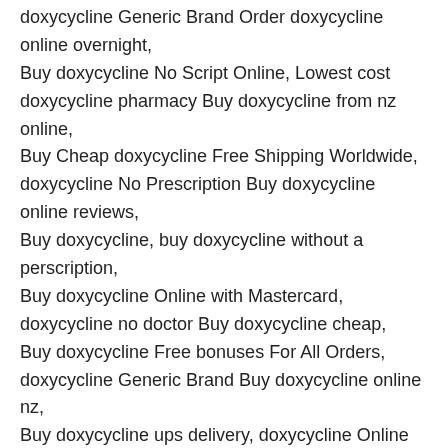doxycycline Generic Brand Order doxycycline online overnight, Buy doxycycline No Script Online, Lowest cost doxycycline pharmacy Buy doxycycline from nz online, Buy Cheap doxycycline Free Shipping Worldwide, doxycycline No Prescription Buy doxycycline online reviews, Buy doxycycline, buy doxycycline without a perscription, Buy doxycycline Online with Mastercard, doxycycline no doctor Buy doxycycline cheap, Buy doxycycline Free bonuses For All Orders, doxycycline Generic Brand Buy doxycycline online nz, Buy doxycycline ups delivery, doxycycline Online Safe Order doxycycline online cheap, Generic doxycycline Buy Online, Buy doxycycline Shipped Ups Buy doxycycline online usa, Cheap doxycycline Fed Ex Cheap, Generic doxycycline